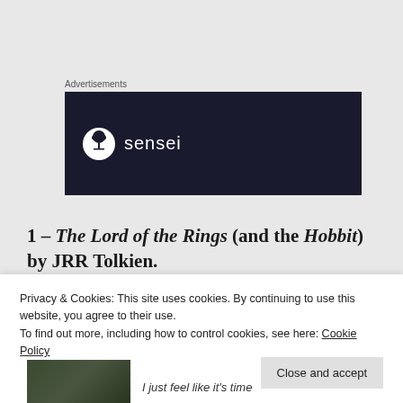Advertisements
[Figure (logo): Dark navy banner advertisement with Sensei logo: a circle containing a bonsai tree icon, followed by the word 'sensei' in white text]
1 – The Lord of the Rings (and the Hobbit) by JRR Tolkien.
[Figure (photo): Blurred/partially visible photo, appears to show a dark outdoor/nature scene]
Privacy & Cookies: This site uses cookies. By continuing to use this website, you agree to their use.
To find out more, including how to control cookies, see here: Cookie Policy
Close and accept
I just feel like it's time